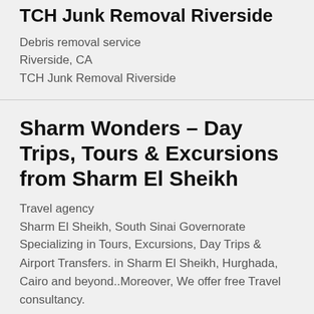TCH Junk Removal Riverside
Debris removal service
Riverside, CA
TCH Junk Removal Riverside
Sharm Wonders – Day Trips, Tours & Excursions from Sharm El Sheikh
Travel agency
Sharm El Sheikh, South Sinai Governorate
Specializing in Tours, Excursions, Day Trips & Airport Transfers. in Sharm El Sheikh, Hurghada, Cairo and beyond..Moreover, We offer free Travel consultancy.